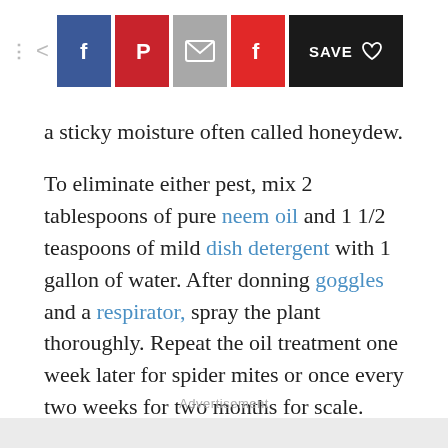Share toolbar with Facebook, Pinterest, Email, Flipboard and Save buttons
a sticky moisture often called honeydew.
To eliminate either pest, mix 2 tablespoons of pure neem oil and 1 1/2 teaspoons of mild dish detergent with 1 gallon of water. After donning goggles and a respirator, spray the plant thoroughly. Repeat the oil treatment one week later for spider mites or once every two weeks for two months for scale.
Advertisement